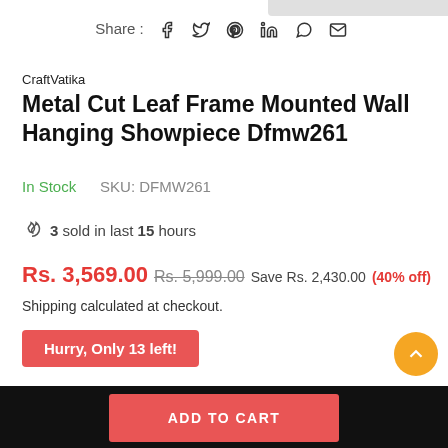Share : f  𝕎  𝗣  in  ⊕  ✉
CraftVatika
Metal Cut Leaf Frame Mounted Wall Hanging Showpiece Dfmw261
In Stock   SKU: DFMW261
🔥 3 sold in last 15 hours
Rs. 3,569.00  Rs. 5,999.00  Save Rs. 2,430.00 (40% off)
Shipping calculated at checkout.
Hurry, Only 13 left!
♡ Add to Wishlist   ✉ Enquiry
ADD TO CART